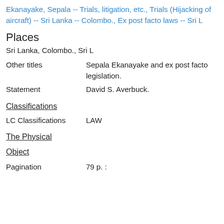Ekanayake, Sepala -- Trials, litigation, etc., Trials (Hijacking of aircraft) -- Sri Lanka -- Colombo., Ex post facto laws -- Sri L
Places
Sri Lanka, Colombo., Sri L
Other titles
Sepala Ekanayake and ex post facto legislation.
Statement
David S. Averbuck.
Classifications
LC Classifications
LAW
The Physical
Object
Pagination
79 p. :